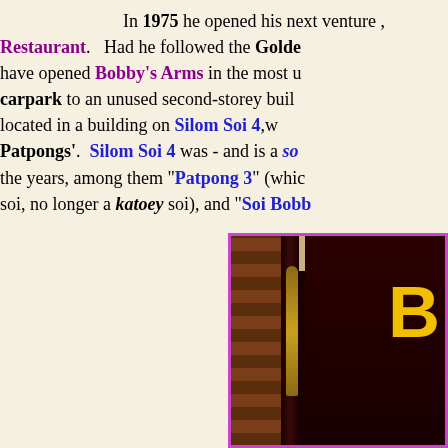In 1975 he opened his next venture , [Restaurant]. Had he followed the Golden [rule, he would have] have opened Bobby's Arms in the most u[nusual location — a] carpark to an unused second-storey buil[ding...] located in a building on Silom Soi 4,w[hich became known as the 'third of the] Patpongs'. Silom Soi 4 was - and is a so[i that has had many names over] the years, among them "Patpong 3" (whic[h it no longer is, now a mainstream] soi, no longer a katoey soi), and "Soi Bobb[y's" ...]
[Figure (photo): Photograph of a bar entrance showing brick walls on the left, a dark wooden door panel in the center, a guitar mounted on the wall, and a large yellow letter 'B' sign on the right side against a dark red background. The photo has a magenta/pink border.]